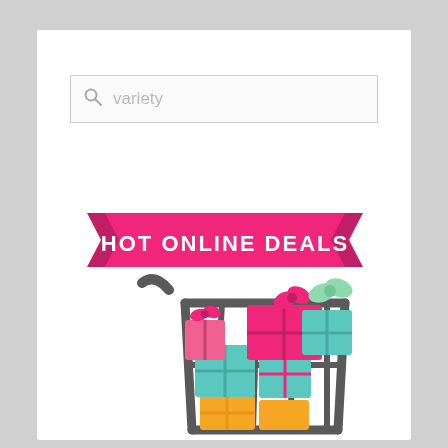[Figure (screenshot): Search bar with magnifying glass icon and placeholder text 'variety']
[Figure (illustration): Hot Online Deals banner with a shopping cart filled with colorful gift boxes in teal, pink, orange, and green colors]